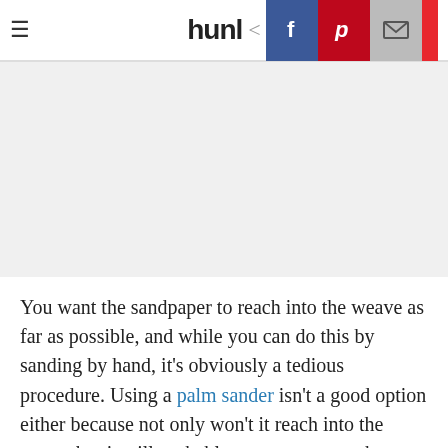hunl
[Figure (other): Gray placeholder image area]
You want the sandpaper to reach into the weave as far as possible, and while you can do this by sanding by hand, it's obviously a tedious procedure. Using a palm sander isn't a good option either because not only won't it reach into the weave but it will probably remove too much material. The best option is to use a 120-grit flap